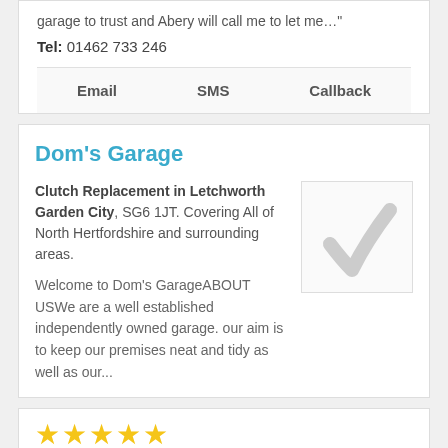garage to trust and Abery will call me to let me…"
Tel: 01462 733 246
Email   SMS   Callback
Dom's Garage
Clutch Replacement in Letchworth Garden City, SG6 1JT. Covering All of North Hertfordshire and surrounding areas.
[Figure (illustration): A light grey checkmark icon inside a bordered box]
Welcome to Dom's GarageABOUT USWe are a well established independently owned garage. our aim is to keep our premises neat and tidy as well as our...
[Figure (other): Five gold star rating icons]